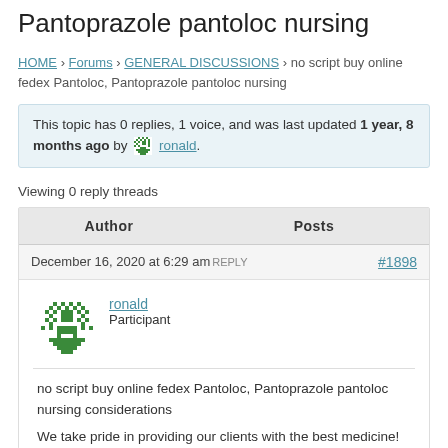Pantoprazole pantoloc nursing
HOME › Forums › GENERAL DISCUSSIONS › no script buy online fedex Pantoloc, Pantoprazole pantoloc nursing
This topic has 0 replies, 1 voice, and was last updated 1 year, 8 months ago by ronald.
Viewing 0 reply threads
| Author | Posts |
| --- | --- |
| December 16, 2020 at 6:29 amREPLY | #1898 |
| ronald
Participant |  |
| no script buy online fedex Pantoloc, Pantoprazole pantoloc nursing considerations

We take pride in providing our clients with the best medicine! |  |